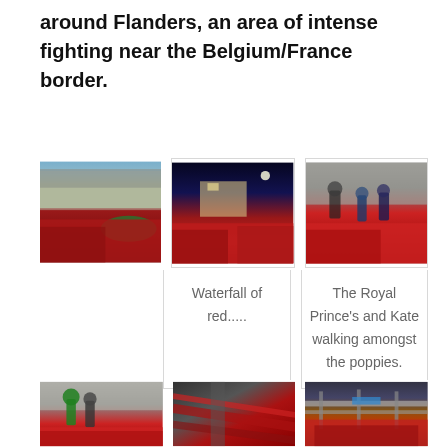around Flanders, an area of intense fighting near the Belgium/France border.
[Figure (photo): Red poppies at the Tower of London installation, daytime view with castle wall and green hedge]
[Figure (photo): Waterfall of red poppies at the Tower of London at night]
Waterfall of red.....
[Figure (photo): The Royal Prince's and Kate walking amongst the poppies]
The Royal Prince's and Kate walking amongst the poppies.
[Figure (photo): Queen Elizabeth at the Tower of London poppy installation]
[Figure (photo): Aerial view of red poppies at the Tower of London]
[Figure (photo): Bridge or aerial view with red poppies visible below]